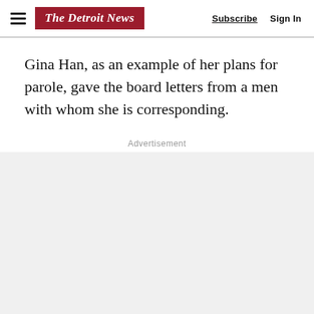The Detroit News | Subscribe  Sign In
Gina Han, as an example of her plans for parole, gave the board letters from a men with whom she is corresponding.
Advertisement